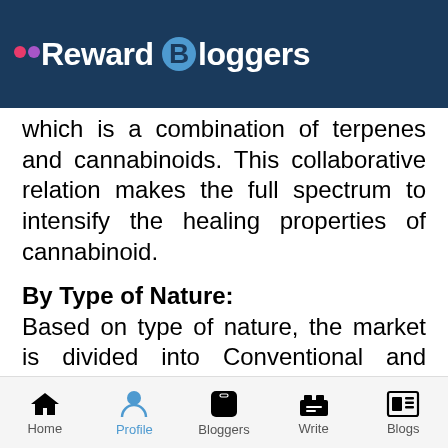Reward Bloggers
which is a combination of terpenes and cannabinoids. This collaborative relation makes the full spectrum to intensify the healing properties of cannabinoid.
By Type of Nature:
Based on type of nature, the market is divided into Conventional and Organic. As there is a rising demand and trend for organic products globally, the market for organic cannabis is expected to surge during the forecast period. Apart from
Home   Profile   Bloggers   Write   Blogs